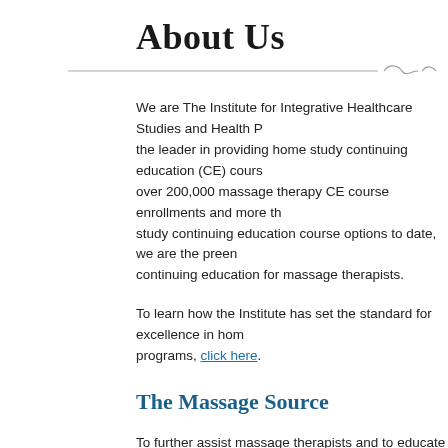About Us
We are The Institute for Integrative Healthcare Studies and Health P... the leader in providing home study continuing education (CE) cours... over 200,000 massage therapy CE course enrollments and more th... study continuing education course options to date, we are the preen... continuing education for massage therapists.
To learn how the Institute has set the standard for excellence in hom... programs, click here.
The Massage Source
To further assist massage therapists and to educate potential clients... and how massage can be included in their routine to create a health... Massage Source.
Our Goals: